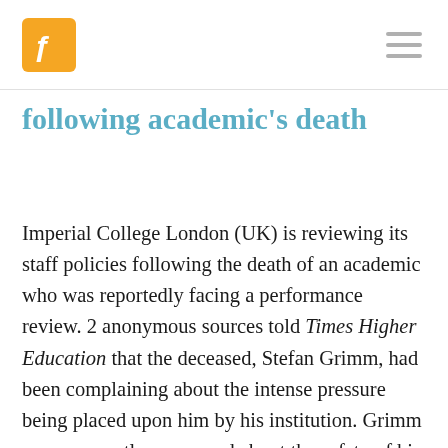[Logo] [Hamburger menu]
following academic's death
Imperial College London (UK) is reviewing its staff policies following the death of an academic who was reportedly facing a performance review. 2 anonymous sources told Times Higher Education that the deceased, Stefan Grimm, had been complaining about the intense pressure being placed upon him by his institution. Grimm was apparently concerned about the safety of his job